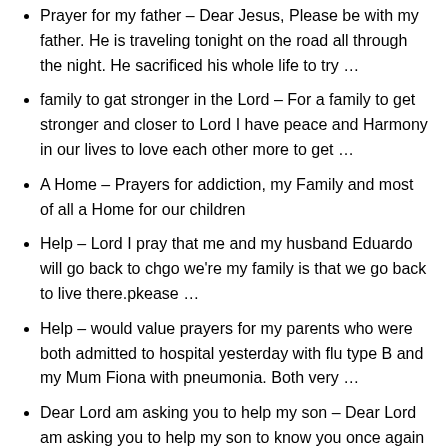Prayer for my father – Dear Jesus, Please be with my father. He is traveling tonight on the road all through the night. He sacrificed his whole life to try …
family to gat stronger in the Lord – For a family to get stronger and closer to Lord I have peace and Harmony in our lives to love each other more to get …
A Home – Prayers for addiction, my Family and most of all a Home for our children
Help – Lord I pray that me and my husband Eduardo will go back to chgo we're my family is that we go back to live there.pkease …
Help – would value prayers for my parents who were both admitted to hospital yesterday with flu type B and my Mum Fiona with pneumonia. Both very …
Dear Lord am asking you to help my son – Dear Lord am asking you to help my son to know you once again he was a born again christian and now he is a …